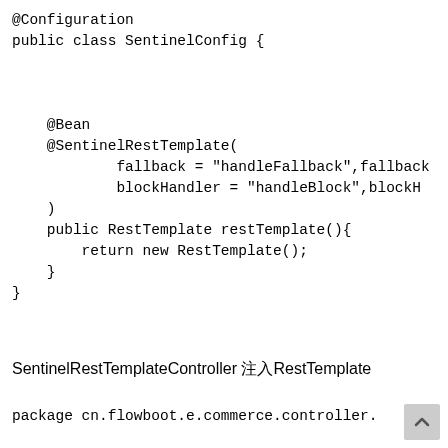@Configuration
public class SentinelConfig {


    @Bean
    @SentinelRestTemplate(
            fallback = "handleFallback",fallback...
            blockHandler = "handleBlock",blockH...
    )
    public RestTemplate restTemplate(){
        return new RestTemplate();
    }
}
SentinelRestTemplateController 注入RestTemplate
package cn.flowboot.e.commerce.controller.